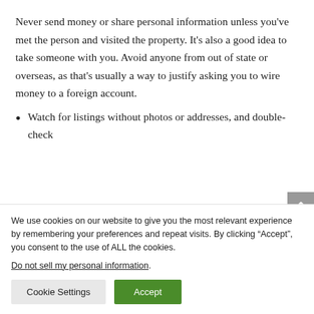Never send money or share personal information unless you've met the person and visited the property. It's also a good idea to take someone with you. Avoid anyone from out of state or overseas, as that's usually a way to justify asking you to wire money to a foreign account.
Watch for listings without photos or addresses, and double-check
We use cookies on our website to give you the most relevant experience by remembering your preferences and repeat visits. By clicking "Accept", you consent to the use of ALL the cookies. Do not sell my personal information.